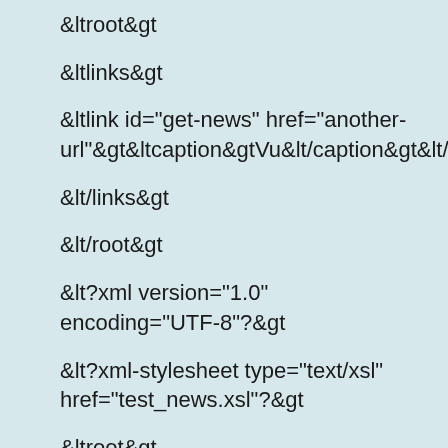&ltroot&gt
&ltlinks&gt
&ltlink id="get-news" href="another-url"&gt&ltcaption&gtVu&lt/caption&gt&lt/link&gt
&lt/links&gt
&lt/root&gt
&lt?xml version="1.0" encoding="UTF-8"?&gt
&lt?xml-stylesheet type="text/xsl" href="test_news.xsl"?&gt
&ltroot&gt
&ltlinks&gt
&ltlink id="get-news" href="another-href" onclick="another-